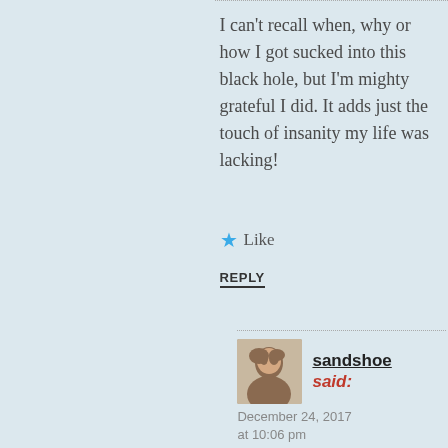I can't recall when, why or how I got sucked into this black hole, but I'm mighty grateful I did. It adds just the touch of insanity my life was lacking!
★ Like
REPLY
sandshoe said:
December 24, 2017 at 10:06 pm
I'm hearing you, Yvonne. My heart goes out to all those who have passed by here as innocent as the